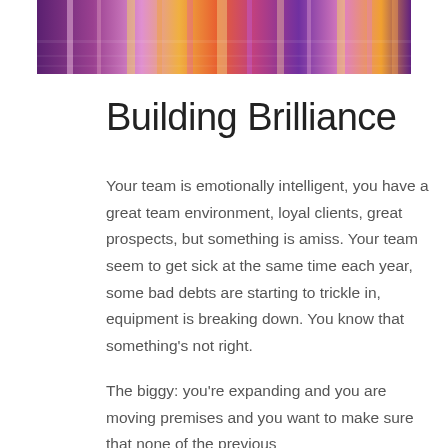[Figure (photo): A night cityscape photo with colorful lights reflected on water, cropped to show just the top portion with blurred pink, purple, and gold light streaks.]
Building Brilliance
Your team is emotionally intelligent, you have a great team environment, loyal clients, great prospects, but something is amiss. Your team seem to get sick at the same time each year, some bad debts are starting to trickle in, equipment is breaking down. You know that something's not right.
The biggy: you're expanding and you are moving premises and you want to make sure that none of the previous